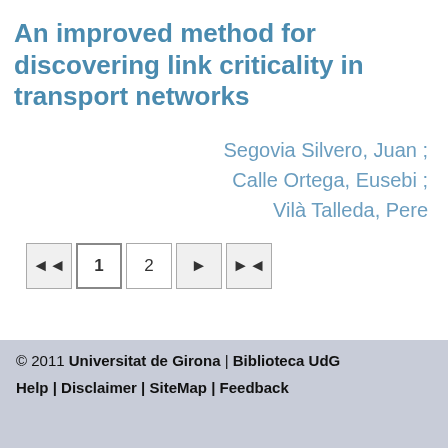An improved method for discovering link criticality in transport networks
Segovia Silvero, Juan ; Calle Ortega, Eusebi ; Vilà Talleda, Pere
[Figure (other): Pagination controls: first page button, page 1 (active), page 2, next page button, last page button]
© 2011 Universitat de Girona | Biblioteca UdG
Help | Disclaimer | SiteMap | Feedback